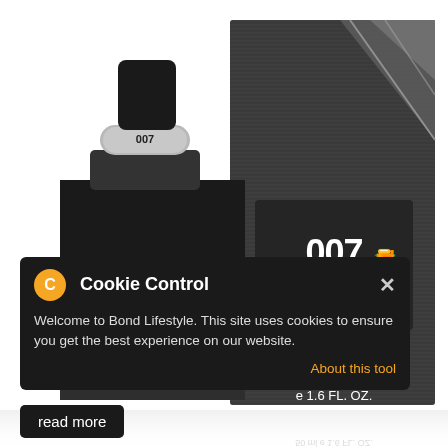[Figure (photo): 007 Seven Aftershave Lotion 50ml product photo showing a dark grey/black cologne bottle with silver 007 logo cap on the left, and the matching dark grey striped product box with '007 SEVEN' branding and 'AFTERSHAVE LOTION / LOTION APRES RASAGE 50 ml e 1.6 FL. OZ.' text on the right. White background with reflection at bottom.]
Cookie Control
Welcome to Bond Lifestyle. This site uses cookies to ensure you get the best experience on our website.
About this tool
read more